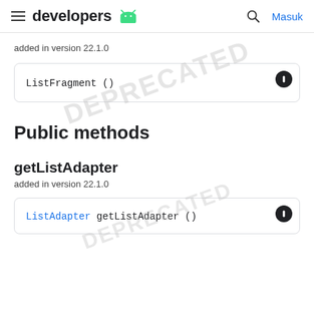developers | Masuk
added in version 22.1.0
ListFragment ()
Public methods
getListAdapter
added in version 22.1.0
ListAdapter getListAdapter ()